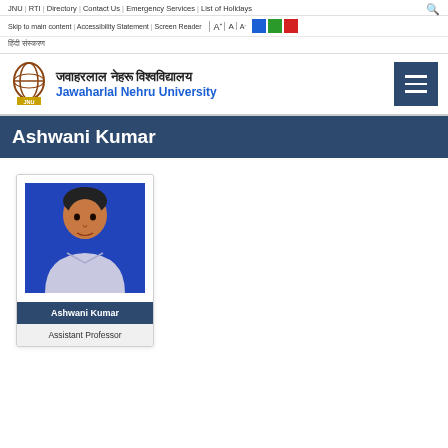JNU | RTI | Directory | Contact Us | Emergency Services | List of Holidays
Skip to main content | Accessibility Statement | Screen Reader | A+ | A | A-
हिंदी संस्करण
[Figure (logo): Jawaharlal Nehru University logo with Hindi text 'जवाहरलाल नेहरू विश्वविद्यालय' and English text 'Jawaharlal Nehru University', with hamburger menu icon]
Ashwani Kumar
[Figure (photo): Profile photo of Ashwani Kumar, a man with dark hair wearing a light-colored shirt, blue background]
Ashwani Kumar
Assistant Professor